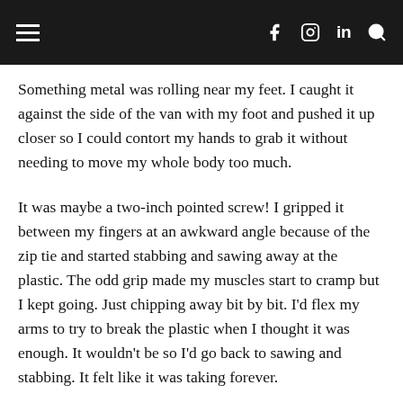Navigation bar with hamburger menu, Facebook, Instagram, LinkedIn, and Search icons
Something metal was rolling near my feet. I caught it against the side of the van with my foot and pushed it up closer so I could contort my hands to grab it without needing to move my whole body too much.
It was maybe a two-inch pointed screw! I gripped it between my fingers at an awkward angle because of the zip tie and started stabbing and sawing away at the plastic. The odd grip made my muscles start to cramp but I kept going. Just chipping away bit by bit. I'd flex my arms to try to break the plastic when I thought it was enough. It wouldn't be so I'd go back to sawing and stabbing. It felt like it was taking forever.
I was sure I was going to die. My life wasn't flashing before my eyes or anything. My thoughts focused on